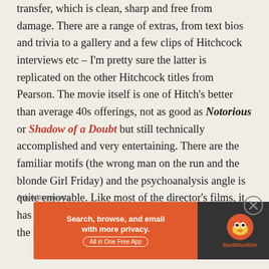transfer, which is clean, sharp and free from damage. There are a range of extras, from text bios and trivia to a gallery and a few clips of Hitchcock interviews etc – I'm pretty sure the latter is replicated on the other Hitchcock titles from Pearson. The movie itself is one of Hitch's better than average 40s offerings, not as good as Notorious or Shadow of a Doubt but still technically accomplished and very entertaining. There are the familiar motifs (the wrong man on the run and the blonde Girl Friday) and the psychoanalysis angle is quite enjoyable. Like most of the director's films, it has a high rewatch value regardless of how familiar the plot may be – recommended.
Advertisements
[Figure (other): DuckDuckGo advertisement banner: orange left panel with text 'Search, browse, and email with more privacy. All in One Free App' and dark right panel with DuckDuckGo duck logo and brand name.]